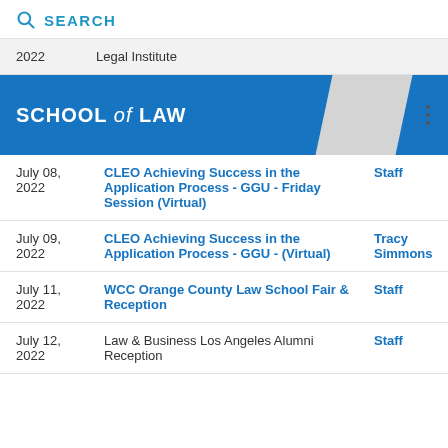SEARCH
| 2022 | Legal Institute |  |
| --- | --- | --- |
| 2022 | Legal Institute |  |
SCHOOL of LAW
| Date | Event | Contact |
| --- | --- | --- |
| July 08, 2022 | CLEO Achieving Success in the Application Process - GGU - Friday Session (Virtual) | Staff |
| July 09, 2022 | CLEO Achieving Success in the Application Process - GGU - (Virtual) | Tracy Simmons |
| July 11, 2022 | WCC Orange County Law School Fair & Reception | Staff |
| July 12, 2022 | Law & Business Los Angeles Alumni Reception | Staff |